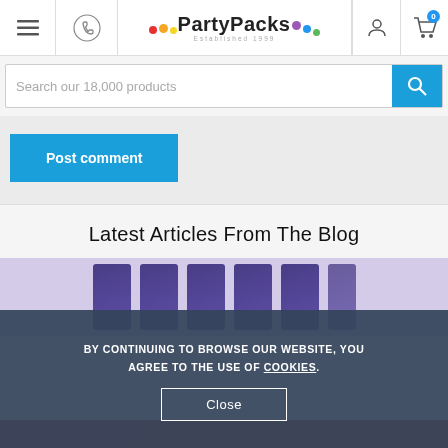PartyPacks — Established 1999
Search our 18,000 products
Post comment
Latest Articles From The Blog
[Figure (photo): Blog article thumbnail showing decorative cards with animal motifs on a light background]
BY CONTINUING TO BROWSE OUR WEBSITE, YOU AGREE TO THE USE OF COOKIES.
Close